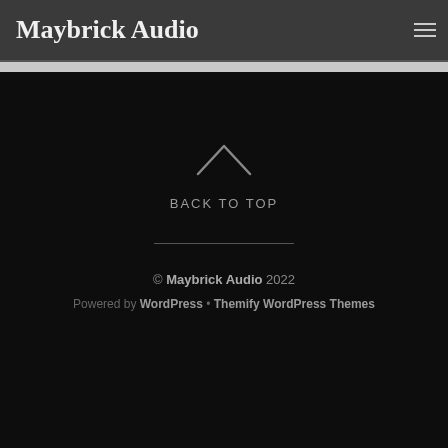Maybrick Audio
BACK TO TOP
© Maybrick Audio 2022
Powered by WordPress • Themify WordPress Themes